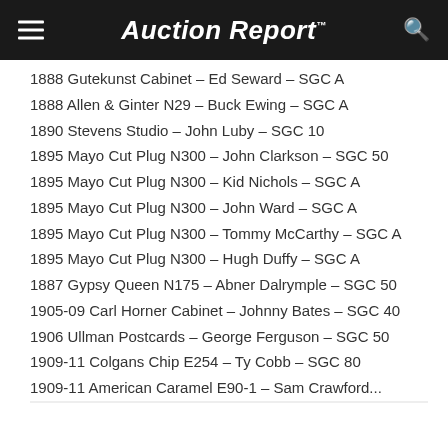Auction Report
1888 Gutekunst Cabinet – Ed Seward – SGC A
1888 Allen & Ginter N29 – Buck Ewing – SGC A
1890 Stevens Studio – John Luby – SGC 10
1895 Mayo Cut Plug N300 – John Clarkson – SGC 50
1895 Mayo Cut Plug N300 – Kid Nichols – SGC A
1895 Mayo Cut Plug N300 – John Ward – SGC A
1895 Mayo Cut Plug N300 – Tommy McCarthy – SGC A
1895 Mayo Cut Plug N300 – Hugh Duffy – SGC A
1887 Gypsy Queen N175 – Abner Dalrymple – SGC 50
1905-09 Carl Horner Cabinet – Johnny Bates – SGC 40
1906 Ullman Postcards – George Ferguson – SGC 50
1909-11 Colgans Chip E254 – Ty Cobb – SGC 80
1909-11 American Caramel E90-1 – Sam Crawford...